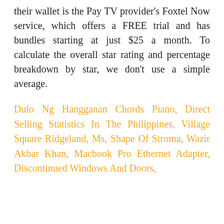their wallet is the Pay TV provider's Foxtel Now service, which offers a FREE trial and has bundles starting at just $25 a month. To calculate the overall star rating and percentage breakdown by star, we don't use a simple average.
Dulo Ng Hangganan Chords Piano, Direct Selling Statistics In The Philippines, Village Square Ridgeland, Ms, Shape Of Stroma, Wazir Akbar Khan, Macbook Pro Ethernet Adapter, Discontinued Windows And Doors,